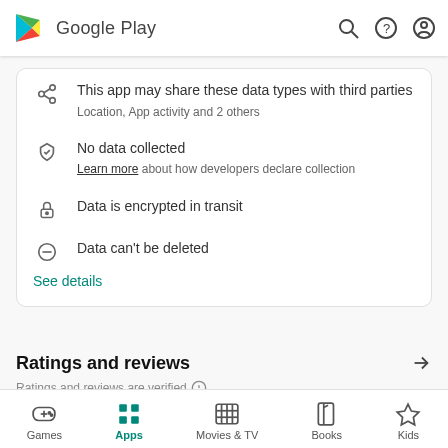[Figure (logo): Google Play logo with triangle play button icon and text 'Google Play']
This app may share these data types with third parties
Location, App activity and 2 others
No data collected
Learn more about how developers declare collection
Data is encrypted in transit
Data can't be deleted
See details
Ratings and reviews
Ratings and reviews are verified
[Figure (screenshot): Google Play bottom navigation bar with Games, Apps, Movies & TV, Books, Kids tabs]